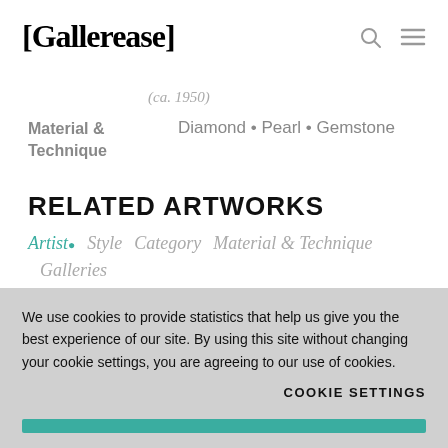[Gallerease]
(ca. 1950)
Material & Technique	Diamond • Pearl • Gemstone
RELATED ARTWORKS
Artist • Style  Category  Material & Technique  Galleries
We use cookies to provide statistics that help us give you the best experience of our site. By using this site without changing your cookie settings, you are agreeing to our use of cookies.
COOKIE SETTINGS